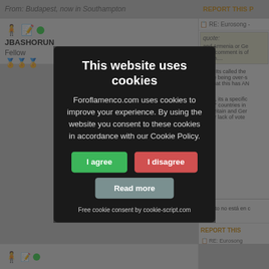From: Budapest, now in Southampton
REPORT THIS P
JBASHORUN
Fellow
RE: Eurosong -
quote:
and Armenia or Ge your comment is of forum....
Huh? Its called the You're being over-s see that this has AN
Deniz, its a specific nated" countries in like Britain and Ger n their lack of vote
b
¡Si esto no está en c
REPORT THIS
RE: Eurosong
[Figure (screenshot): Cookie consent modal overlay on a forum website. Modal has dark background with title 'This website uses cookies', body text explaining Foroflamenco.com uses cookies, three buttons: 'I agree' (green), 'I disagree' (red/pink), 'Read more' (gray-blue), and footer text 'Free cookie consent by cookie-script.com']